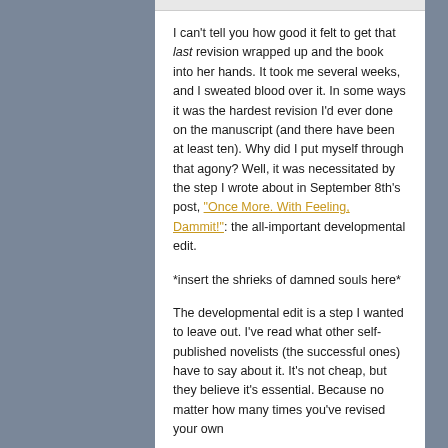I can't tell you how good it felt to get that last revision wrapped up and the book into her hands. It took me several weeks, and I sweated blood over it. In some ways it was the hardest revision I'd ever done on the manuscript (and there have been at least ten). Why did I put myself through that agony? Well, it was necessitated by the step I wrote about in September 8th's post, "Once More. With Feeling, Dammit!": the all-important developmental edit.
*insert the shrieks of damned souls here*
The developmental edit is a step I wanted to leave out. I've read what other self-published novelists (the successful ones) have to say about it. It's not cheap, but they believe it's essential. Because no matter how many times you've revised your own